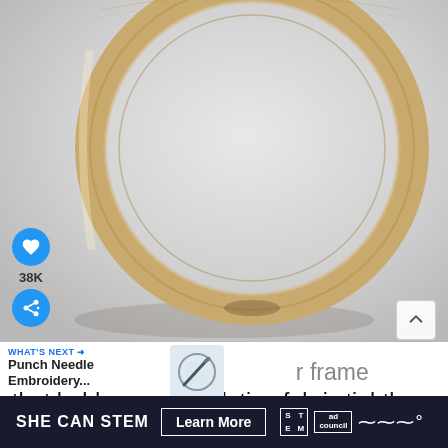[Figure (photo): Close-up photograph of a round wooden embroidery hoop standing upright on a white/grey surface. The hoop is made of light natural wood with visible grain lines. The full circular ring is visible.]
38K
WHAT'S NEXT → Punch Needle Embroidery...
ly important to use a hoop or frame that holds your foundation fabric tightly and do
SHE CAN STEM  Learn More